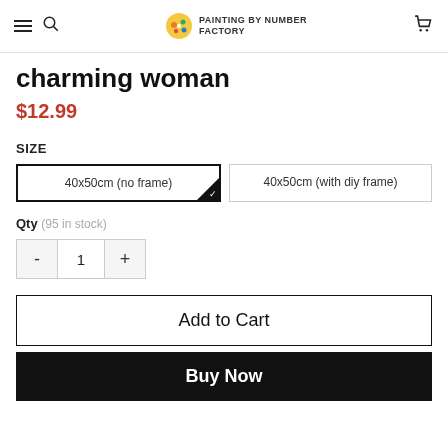PAINTING BY NUMBER FACTORY
charming woman
$12.99
SIZE
40x50cm (no frame)
40x50cm (with diy frame)
Qty (95 in stock)
- 1 +
Add to Cart
Buy Now